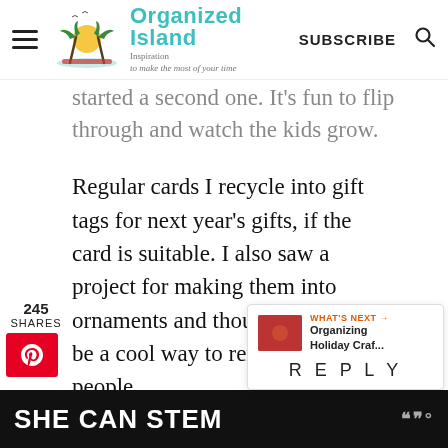Organized Island — Inspiration to make the most of your time | SUBSCRIBE
started a second one. It's fun to flip through and watch the kids grow.
Regular cards I recycle into gift tags for next year's gifts, if the card is suitable. I also saw a project for making them into ornaments and thought that might be a cool way to remember special people.
245 SHARES
[Figure (screenshot): Pinterest share button (red)]
[Figure (screenshot): Heart/like button (teal) with count 247 and share button]
[Figure (screenshot): What's Next widget: Organizing Holiday Craf... with REPLY button]
[Figure (screenshot): SHE CAN STEM ad banner at bottom]